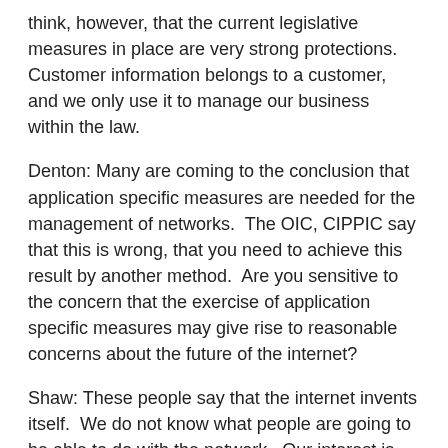think, however, that the current legislative measures in place are very strong protections.  Customer information belongs to a customer, and we only use it to manage our business within the law.
Denton: Many are coming to the conclusion that application specific measures are needed for the management of networks.  The OIC, CIPPIC say that this is wrong, that you need to achieve this result by another method.  Are you sensitive to the concern that the exercise of application specific measures may give rise to reasonable concerns about the future of the internet?
Shaw: These people say that the internet invents itself.  We do not know what people are going to be able to do with the network.  Our interest is ensuring that the system works.  We are concerned with dealing with congestion, and our total focus is to create a network that allows people to use it the way they want.  The type of applications that win